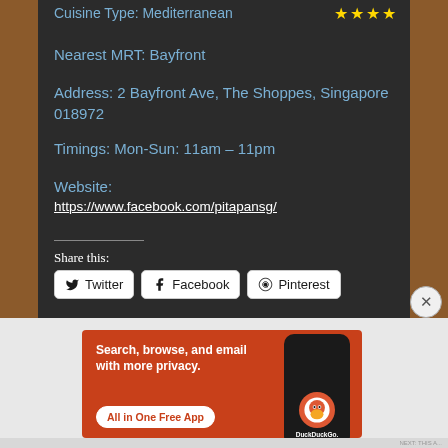Cuisine Type: Mediterranean ★★★★
Nearest MRT: Bayfront
Address: 2 Bayfront Ave, The Shoppes, Singapore 018972
Timings: Mon-Sun: 11am – 11pm
Website:
https://www.facebook.com/pitapansg/
Share this:
Twitter | Facebook | Pinterest
[Figure (screenshot): DuckDuckGo advertisement banner: Search, browse, and email with more privacy. All in One Free App. Shows phone with DuckDuckGo logo.]